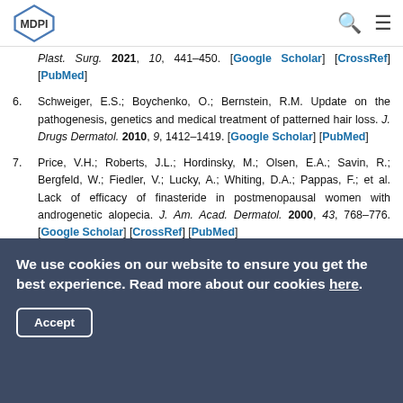MDPI
Plast. Surg. 2021, 10, 441–450. [Google Scholar] [CrossRef] [PubMed]
6. Schweiger, E.S.; Boychenko, O.; Bernstein, R.M. Update on the pathogenesis, genetics and medical treatment of patterned hair loss. J. Drugs Dermatol. 2010, 9, 1412–1419. [Google Scholar] [PubMed]
7. Price, V.H.; Roberts, J.L.; Hordinsky, M.; Olsen, E.A.; Savin, R.; Bergfeld, W.; Fiedler, V.; Lucky, A.; Whiting, D.A.; Pappas, F.; et al. Lack of efficacy of finasteride in postmenopausal women with androgenetic alopecia. J. Am. Acad. Dermatol. 2000, 43, 768–776. [Google Scholar] [CrossRef] [PubMed]
We use cookies on our website to ensure you get the best experience. Read more about our cookies here. Accept